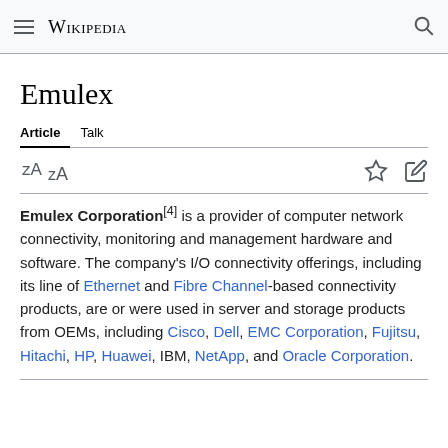Wikipedia
Emulex
Article  Talk
Emulex Corporation[4] is a provider of computer network connectivity, monitoring and management hardware and software. The company's I/O connectivity offerings, including its line of Ethernet and Fibre Channel-based connectivity products, are or were used in server and storage products from OEMs, including Cisco, Dell, EMC Corporation, Fujitsu, Hitachi, HP, Huawei, IBM, NetApp, and Oracle Corporation.